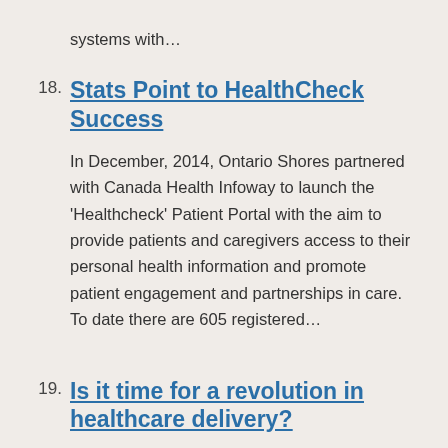systems with…
18. Stats Point to HealthCheck Success
In December, 2014, Ontario Shores partnered with Canada Health Infoway to launch the 'Healthcheck' Patient Portal with the aim to provide patients and caregivers access to their personal health information and promote patient engagement and partnerships in care. To date there are 605 registered…
19. Is it time for a revolution in healthcare delivery?